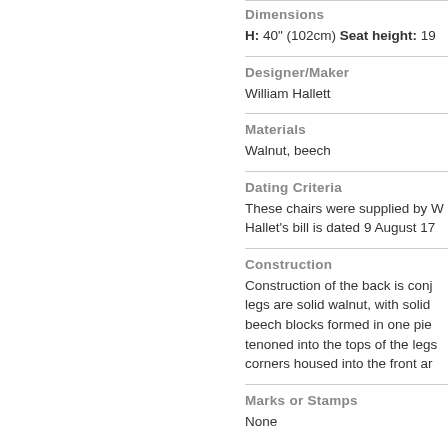Dimensions
H: 40" (102cm) Seat height: 19...
Designer/Maker
William Hallett
Materials
Walnut, beech
Dating Criteria
These chairs were supplied by W... Hallet's bill is dated 9 August 17...
Construction
Construction of the back is conj... legs are solid walnut, with solid ... beech blocks formed in one pie... tenoned into the tops of the legs... corners housed into the front ar...
Marks or Stamps
None